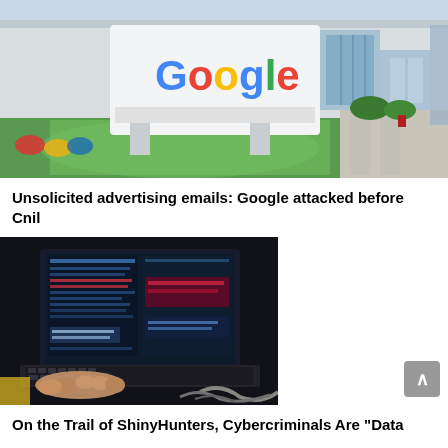[Figure (photo): Google headquarters sign in front of a building with green lawn]
Unsolicited advertising emails: Google attacked before Cnil
[Figure (photo): Person's hands typing on a laptop with hacking/coding interface on screen, cables on table]
On the Trail of ShinyHunters, Cybercriminals Are "Data